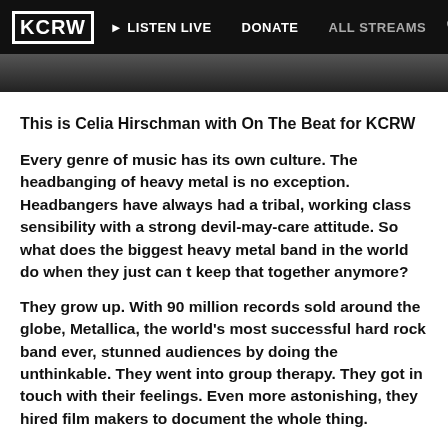KCRW | LISTEN LIVE | DONATE | ALL STREAMS
[Figure (photo): Dark cropped photo strip at top of page]
This is Celia Hirschman with On The Beat for KCRW
Every genre of music has its own culture. The headbanging of heavy metal is no exception. Headbangers have always had a tribal, working class sensibility with a strong devil-may-care attitude. So what does the biggest heavy metal band in the world do when they just can t keep that together anymore?
They grow up. With 90 million records sold around the globe, Metallica, the world's most successful hard rock band ever, stunned audiences by doing the unthinkable. They went into group therapy. They got in touch with their feelings. Even more astonishing, they hired film makers to document the whole thing.